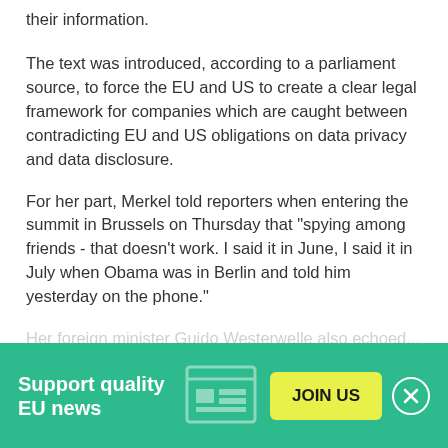their information.
The text was introduced, according to a parliament source, to force the EU and US to create a clear legal framework for companies which are caught between contradicting EU and US obligations on data privacy and data disclosure.
For her part, Merkel told reporters when entering the summit in Brussels on Thursday that "spying among friends - that doesn't work. I said it in June, I said it in July when Obama was in Berlin and told him yesterday on the phone."
Her foreign minister Guido Westerwelle also echoed...
Support quality EU news
JOIN US